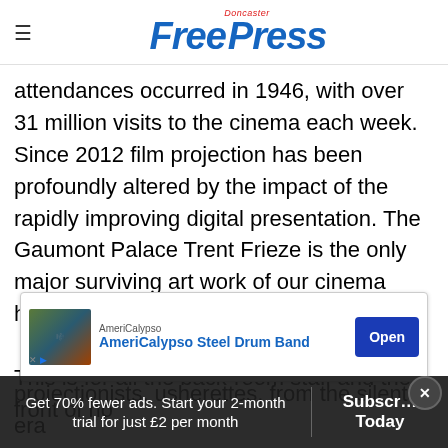Doncaster Free Press
attendances occurred in 1946, with over 31 million visits to the cinema each week. Since 2012 film projection has been profoundly altered by the impact of the rapidly improving digital presentation. The Gaumont Palace Trent Frieze is the only major surviving art work of our cinema heritage.
This is for all the back-room staff and the front of ho… projectionists, usherettes, from the silent era
[Figure (screenshot): AmeriCalypso Steel Drum Band advertisement overlay with Open button]
Get 70% fewer ads. Start your 2-month trial for just £2 per month
Subscribe Today